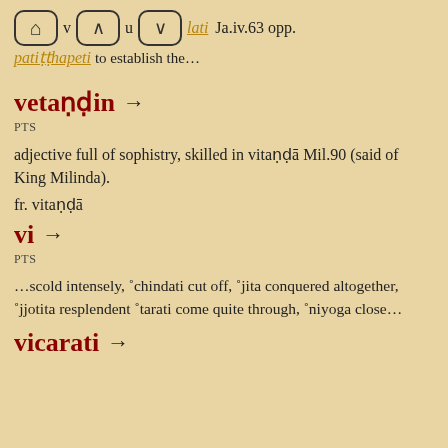🏠 ^ u v lati Ja.iv.63 opp. patiṭṭhapeti to establish the…
vetaṇḍin →
PTS
adjective full of sophistry, skilled in vitaṇḍā Mil.90 (said of King Milinda).
fr. vitaṇḍā
vi →
PTS
…scold intensely, ˚chindati cut off, ˚jita conquered altogether, ˚jjotita resplendent ˚tarati come quite through, ˚niyoga close…
vicarati →